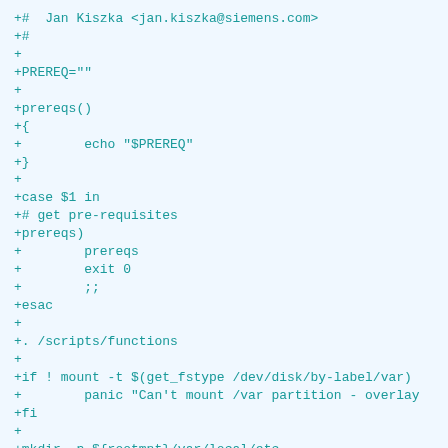+#  Jan Kiszka <jan.kiszka@siemens.com>
+#
+
+PREREQ=""
+
+prereqs()
+{
+        echo "$PREREQ"
+}
+
+case $1 in
+# get pre-requisites
+prereqs)
+        prereqs
+        exit 0
+        ;;
+esac
+
+. /scripts/functions
+
+if ! mount -t $(get_fstype /dev/disk/by-label/var)
+        panic "Can't mount /var partition - overlay
+fi
+
+mkdir -p ${rootmnt}/var/local/etc
+mkdir -p ${rootmnt}/var/local/.atomic
+mount -t overlay -o lowerdir=${rootmnt}/etc,upperdi
diff --git a/recipes-initramfs/initramfs-etc-overlay
new file mode 100644
index 0000000..19e9261
--- /dev/null